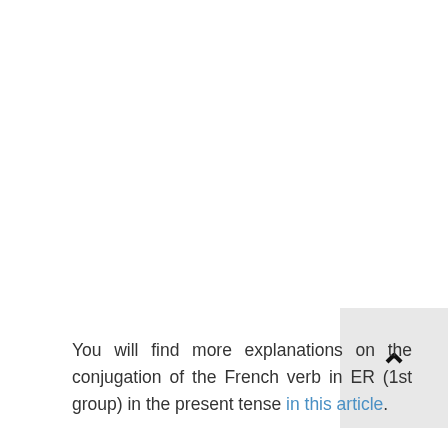You will find more explanations on the conjugation of the French verb in ER (1st group) in the present tense in this article.